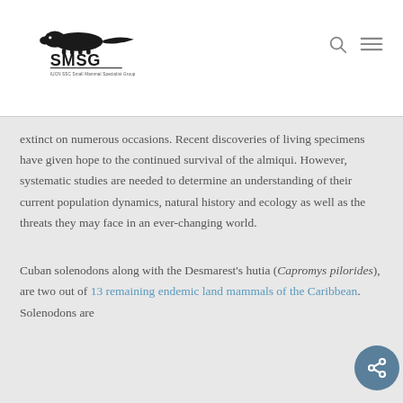[Figure (logo): SMSG - IUCN SSC Small Mammal Specialist Group logo with silhouette of a small mammal above the letters SMSG]
extinct on numerous occasions. Recent discoveries of living specimens have given hope to the continued survival of the almiqui. However, systematic studies are needed to determine an understanding of their current population dynamics, natural history and ecology as well as the threats they may face in an ever-changing world.
Cuban solenodons along with the Desmarest's hutia (Capromys pilorides), are two out of 13 remaining endemic land mammals of the Caribbean. Solenodons are